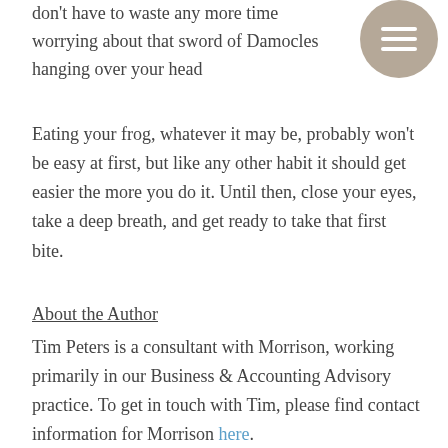don't have to waste any more time worrying about that sword of Damocles hanging over your head
Eating your frog, whatever it may be, probably won't be easy at first, but like any other habit it should get easier the more you do it. Until then, close your eyes, take a deep breath, and get ready to take that first bite.
About the Author
Tim Peters is a consultant with Morrison, working primarily in our Business & Accounting Advisory practice. To get in touch with Tim, please find contact information for Morrison here.